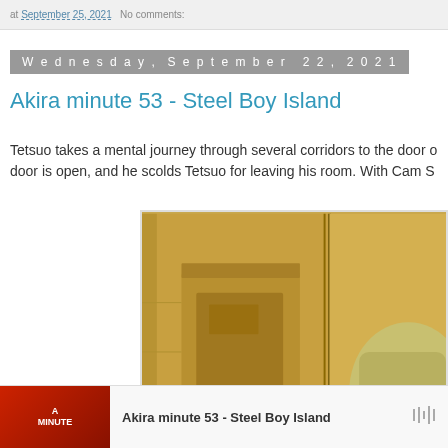at September 25, 2021  No comments:
Wednesday, September 22, 2021
Akira minute 53 - Steel Boy Island
Tetsuo takes a mental journey through several corridors to the door of... door is open, and he scolds Tetsuo for leaving his room. With Cam S...
[Figure (illustration): Anime still from Akira showing a golden-colored corridor/room with a door panel and a character wearing a bandage-wrapped head visible in the lower right, with a small sign reading 'A ROOM']
Akira minute 53 - Steel Boy Island